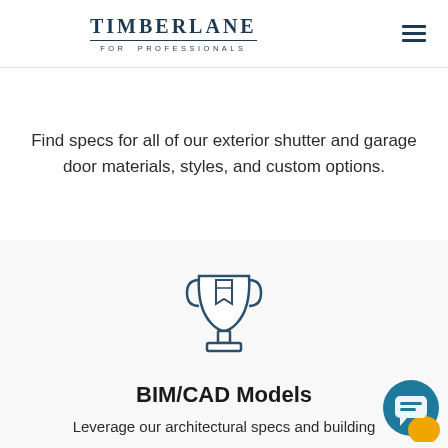TIMBERLANE FOR PROFESSIONALS
Find specs for all of our exterior shutter and garage door materials, styles, and custom options.
[Figure (illustration): Trophy icon with a ribbon/badge on it, outline style in dark blue-gray color]
BIM/CAD Models
Leverage our architectural specs and building